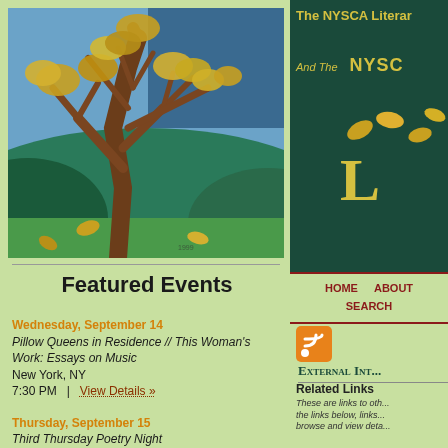[Figure (illustration): Illustration of a large oak/maple tree with golden/yellow autumn leaves against a blue-green landscape background]
The NYSCA Literary And The NYSC L
HOME  ABOUT  SEARCH
[Figure (illustration): RSS feed orange icon]
External Int...
Related Links
These are links to oth... the links below, links ... browse and view deta...
Featured Events
Wednesday, September 14
Pillow Queens in Residence // This Woman's Work: Essays on Music
New York, NY
7:30 PM  |  View Details »
Thursday, September 15
Third Thursday Poetry Night